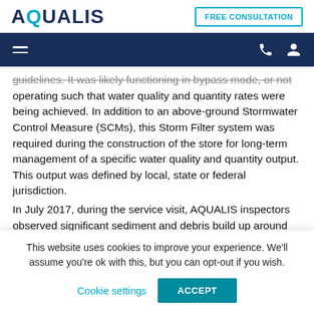AQUALIS | FREE CONSULTATION
guidelines. It was likely functioning in bypass mode, or not operating such that water quality and quantity rates were being achieved. In addition to an above-ground Stormwater Control Measure (SCMs), this Storm Filter system was required during the construction of the store for long-term management of a specific water quality and quantity output. This output was defined by local, state or federal jurisdiction.
In July 2017, during the service visit, AQUALIS inspectors observed significant sediment and debris build up around
This website uses cookies to improve your experience. We'll assume you're ok with this, but you can opt-out if you wish.
Cookie settings   ACCEPT